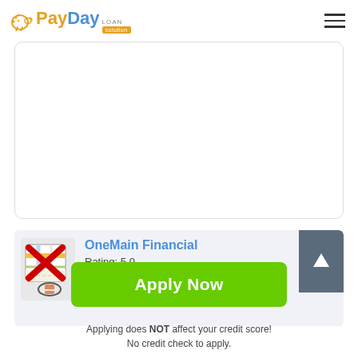PayDay LOAN solution
[Figure (screenshot): Empty white card area with rounded corners]
[Figure (screenshot): OneMain Financial listing card showing map icon with red X, company name, rating 5.0, details Loan agency, location 1401 S Main St #1 Lamar CO, with dark upload arrow button on right]
OneMain Financial
Rating: 5.0
Details: Loan agency
Location: 1401 S Main St #1, Lamar, CO
Apply Now
Applying does NOT affect your credit score!
No credit check to apply.